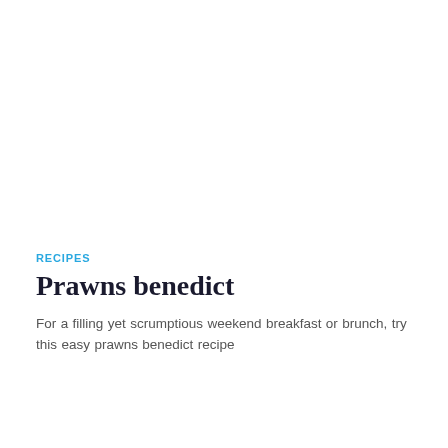RECIPES
Prawns benedict
For a filling yet scrumptious weekend breakfast or brunch, try this easy prawns benedict recipe